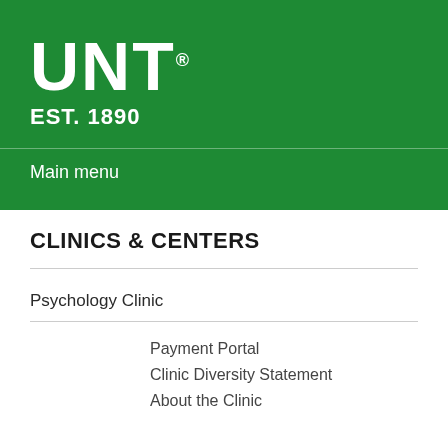[Figure (logo): UNT university logo with text UNT EST. 1890 in white on green background]
Main menu
CLINICS & CENTERS
Psychology Clinic
Payment Portal
Clinic Diversity Statement
About the Clinic